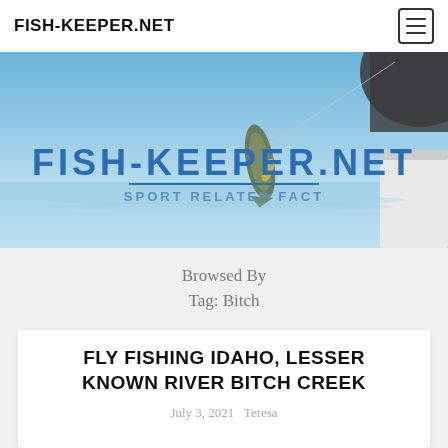FISH-KEEPER.NET
[Figure (photo): Hero banner image showing a fish being held by a fisherman over calm water, with FISH-KEEPER.NET logo and subtitle SPORT RELATED FACT overlaid]
Browsed By
Tag: Bitch
FLY FISHING IDAHO, LESSER KNOWN RIVER BITCH CREEK
July 3, 2021  Teresa